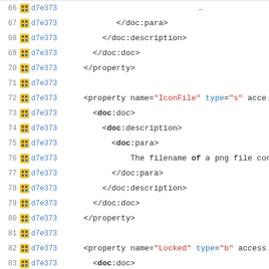Code viewer showing XML lines 66-87 with line numbers, icons, hash d7e373, and code content
66 d7e373 [truncated line top]
67 d7e373     </doc:para>
68 d7e373     </doc:description>
69 d7e373   </doc:doc>
70 d7e373  </property>
71 d7e373
72 d7e373  <property name="IconFile" type="s" access...
73 d7e373    <doc:doc>
74 d7e373      <doc:description>
75 d7e373        <doc:para>
76 d7e373          The filename of a png file cont...
77 d7e373        </doc:para>
78 d7e373      </doc:description>
79 d7e373    </doc:doc>
80 d7e373  </property>
81 d7e373
82 d7e373  <property name="Locked" type="b" access...
83 d7e373    <doc:doc>
84 d7e373      <doc:description>
85 d7e373        <doc:para>
86 d7e373 --
87 d7e373 2.21.0